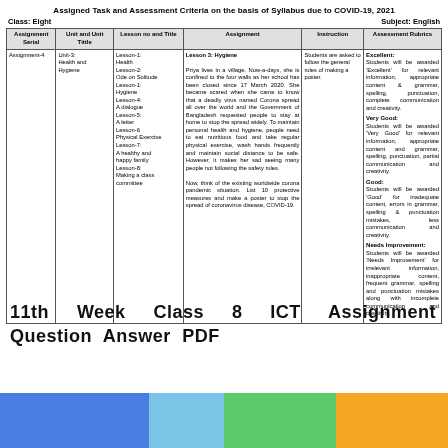Assigned Task and Assessment Criteria on the basis of Syllabus due to COVID-19, 2021
Class: Eight
Subject: English
| Assignment Serial | Unit and Unit Tittle | Lesson no and Title | Assignment | Instruction | Assessment Rubrics |
| --- | --- | --- | --- | --- | --- |
| Assignment-4 | Unit-3: Health and Hygiene | Lesson-1: Health
Lesson-2: Ode on Solitude
Lesson-1: Hygiene
Lesson-4: A dialogue
Lesson-5: A letter
Lesson-6 Physical Exercise
Lesson-7: A healthy and happy family
Lesson-8: Making a class committee | Lesson 3: Hygiene

Priya lives in a village. Now-a-days, she is confined to the four walls as her school has been closed since 17 March 2020. She became scared when she came to know that a deadly virus named Corona spread all over the world and the Government of Bangladesh requested people to stay at home to stop the spread widely. To maintain personal health and hygiene, people need to eat nutritious food and take regular physical exercise, wash hands frequently and maintain social distance to be safe. However, it makes her sad seeing many people not following the safety rules.

Now, think of the existing worldwide corona pandemic situation. List 10 protective measures and make a poster to stop the spread of coronavirus disease, COVID-19. | Students are asked to follow the general rules of making a poster. | Excellent:
Students will be awarded 'Excellent' for relevant information, appropriate content & grammar, spelling, punctuation, complete communication and creativity.

Very Good:
Students will be awarded 'Very Good' for relevant information, appropriate content and grammar, spelling, punctuation, partial communication and creativity.

Good:
Students will be awarded 'Good' for inadequate content, errors in grammar, spelling & punctuation mistakes, less communication and creativity.

Needs Improvement:
Students will be awarded 'Needs Improvement' for irrelevant information, inappropriate content, frequent grammar, spelling and punctuation mistakes along with incomplete communication and creativity. |
11th Week Class 8 ICT Assignment Question Answer PDF